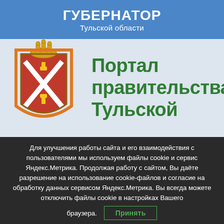ГУБЕРНАТОР Тульской области
[Figure (illustration): Coat of arms of Tula Oblast (red shield with crossed white swords and hammers) on a light blue background, alongside the text 'Портал правительства Тульской' in green bold text]
Для улучшения работы сайта и его взаимодействия с пользователями мы используем файлы cookie и сервис Яндекс.Метрика. Продолжая работу с сайтом, Вы даёте разрешение на использование cookie-файлов и согласие на обработку данных сервисом Яндекс.Метрика. Вы всегда можете отключить файлы cookie в настройках Вашего браузера.
Принять